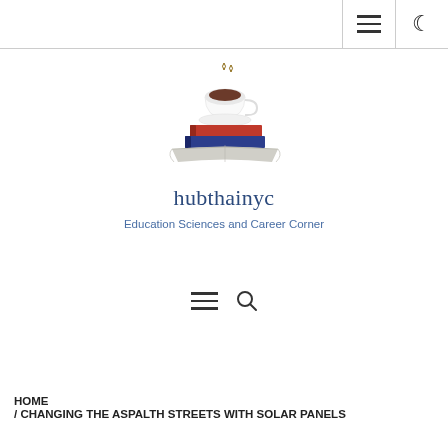hubthainyc navigation bar with hamburger menu and dark mode toggle
[Figure (logo): Stack of books with a steaming coffee cup on top, illustrated logo for hubthainyc]
hubthainyc
Education Sciences and Career Corner
Hamburger menu and search icon navigation row
HOME
/ CHANGING THE ASPALTH STREETS WITH SOLAR PANELS